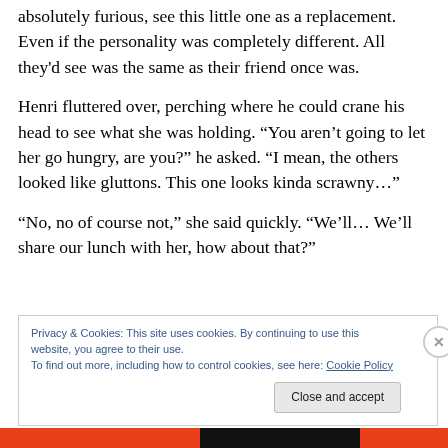absolutely furious, see this little one as a replacement. Even if the personality was completely different. All they'd see was the same as their friend once was.
Henri fluttered over, perching where he could crane his head to see what she was holding. “You aren’t going to let her go hungry, are you?” he asked. “I mean, the others looked like gluttons. This one looks kinda scrawny…”
“No, no of course not,” she said quickly. “We’ll… We’ll share our lunch with her, how about that?”
Privacy & Cookies: This site uses cookies. By continuing to use this website, you agree to their use.
To find out more, including how to control cookies, see here: Cookie Policy
Close and accept